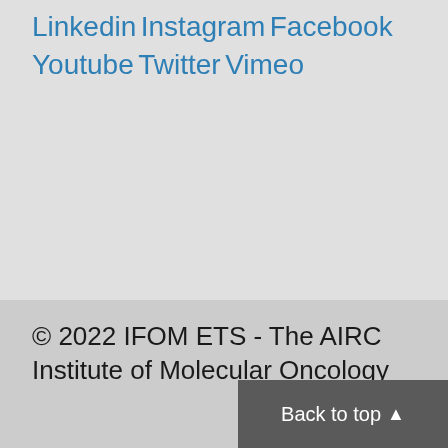Linkedin
Instagram
Facebook
Youtube
Twitter
Vimeo
© 2022 IFOM ETS - The AIRC Institute of Molecular Oncology
Back to top ▲